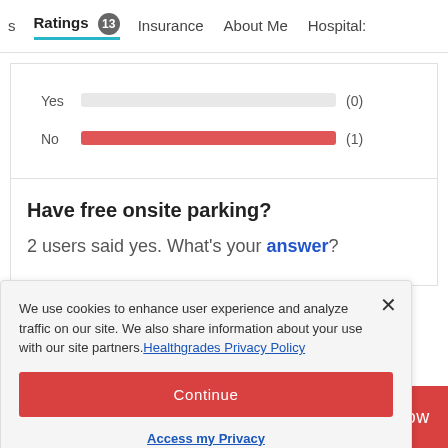s  Ratings 13  Insurance  About Me  Hospital
[Figure (bar-chart): ]
Have free onsite parking?
2 users said yes. What's your answer?
We use cookies to enhance user experience and analyze traffic on our site. We also share information about your use with our site partners. Healthgrades Privacy Policy
Continue
Access my Privacy Preferences